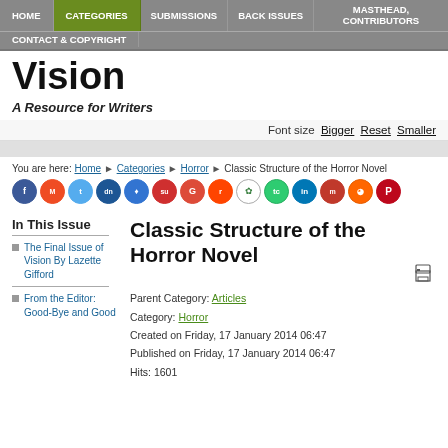HOME | CATEGORIES | SUBMISSIONS | MASTHEAD, CONTACT & COPYRIGHT | BACK ISSUES | CONTRIBUTORS
Vision
A Resource for Writers
Font size  Bigger  Reset  Smaller
You are here: Home ▶ Categories ▶ Horror ▶ Classic Structure of the Horror Novel
[Figure (other): Row of social media sharing icons: Facebook, MySpace, Twitter, Digg, Delicious, StumbleUpon, Google+, Reddit, GoodReads, TweetCaster, LinkedIn, Mixx, RSS, Pinterest]
In This Issue
The Final Issue of Vision By Lazette Gifford
From the Editor: Good-Bye and Good
Classic Structure of the Horror Novel
Parent Category: Articles
Category: Horror
Created on Friday, 17 January 2014 06:47
Published on Friday, 17 January 2014 06:47
Hits: 1601